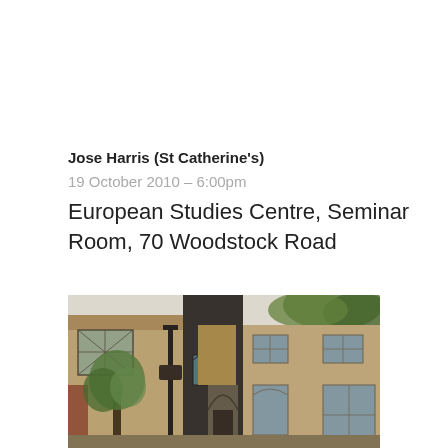Jose Harris (St Catherine's)
19 October 2010 – 6:00pm
European Studies Centre, Seminar Room, 70 Woodstock Road
[Figure (photo): Photograph of a Victorian Gothic brick building, likely the European Studies Centre at 70 Woodstock Road, Oxford. The building features pointed Gothic arches, stone-framed windows, and is partially obscured by trees. A street lamp post is visible in the foreground.]